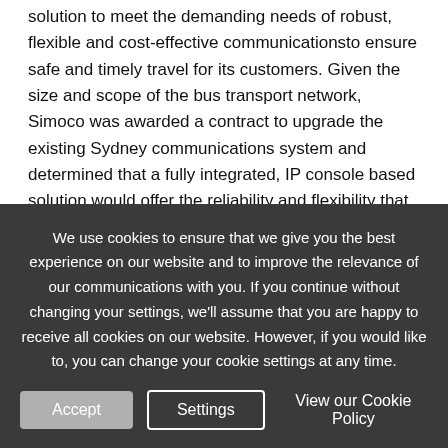solution to meet the demanding needs of robust, flexible and cost-effective communicationsto ensure safe and timely travel for its customers. Given the size and scope of the bus transport network, Simoco was awarded a contract to upgrade the existing Sydney communications system and determined that a fully integrated, IP console based solution would offer the reliability and flexibility that Sydney Buses required while complying with the new narrowband legislations.
We use cookies to ensure that we give you the best experience on our website and to improve the relevance of our communications with you. If you continue without changing your settings, we'll assume that you are happy to receive all cookies on our website. However, if you would like to, you can change your cookie settings at any time.